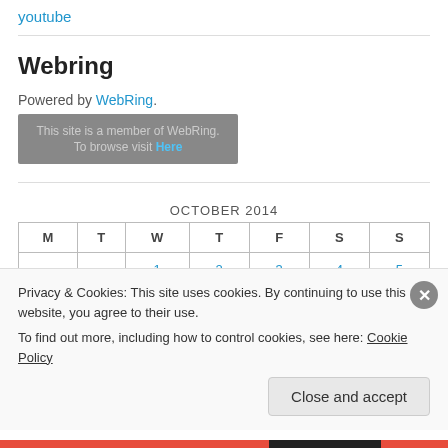youtube
Webring
Powered by WebRing.
[Figure (other): WebRing banner widget showing 'This site is a member of WebRing. To browse visit Here']
| M | T | W | T | F | S | S |
| --- | --- | --- | --- | --- | --- | --- |
|  |  | 1 | 2 | 3 | 4 | 5 |
Privacy & Cookies: This site uses cookies. By continuing to use this website, you agree to their use.
To find out more, including how to control cookies, see here: Cookie Policy